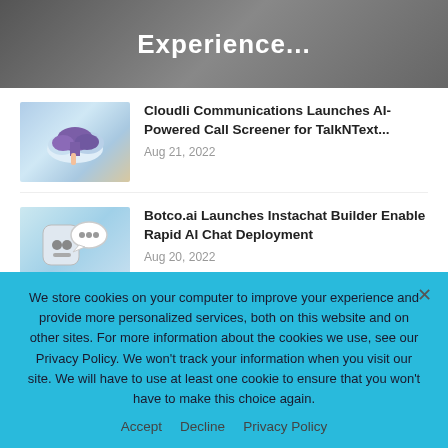[Figure (photo): Dark banner with bold white text 'Experience...' overlaid on a blurred background]
Experience...
[Figure (photo): Thumbnail showing a hand pointing at a purple cloud icon with tech graphics]
Cloudli Communications Launches AI-Powered Call Screener for TalkNText...
Aug 21, 2022
[Figure (photo): Thumbnail showing a robot chatbot icon with speech bubble on a smartphone]
Botco.ai Launches Instachat Builder Enable Rapid AI Chat Deployment
Aug 20, 2022
[Figure (photo): Thumbnail with dark blue tech/bioscience imagery]
Vector Space Biosciences Announces New Tools for...
We store cookies on your computer to improve your experience and provide more personalized services, both on this website and on other sites. For more information about the cookies we use, see our Privacy Policy. We won't track your information when you visit our site. We will have to use at least one cookie to ensure that you won't have to make this choice again.
Accept
Decline
Privacy Policy